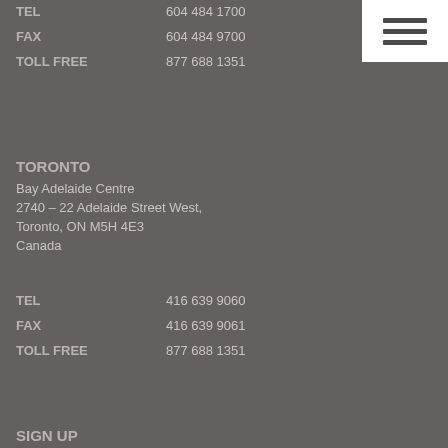TEL  604 484 1700
FAX  604 484 9700
TOLL FREE  877 688 1351
TORONTO
Bay Adelaide Centre
2740 – 22 Adelaide Street West,
Toronto, ON  M5H 4E3
Canada
TEL  416 639 9060
FAX  416 639 9061
TOLL FREE  877 688 1351
SIGN UP